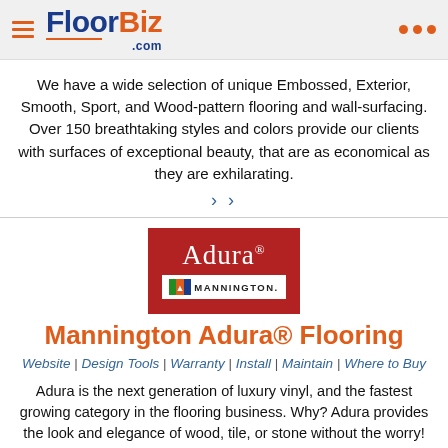FloorBiz.com
We have a wide selection of unique Embossed, Exterior, Smooth, Sport, and Wood-pattern flooring and wall-surfacing. Over 150 breathtaking styles and colors provide our clients with surfaces of exceptional beauty, that are as economical as they are exhilarating.
[Figure (logo): Adura by Mannington logo — red background with white Adura® text and Mannington wordmark below]
Mannington Adura® Flooring
Website | Design Tools | Warranty | Install | Maintain | Where to Buy
Adura is the next generation of luxury vinyl, and the fastest growing category in the flooring business. Why? Adura provides the look and elegance of wood, tile, or stone without the worry! Available in